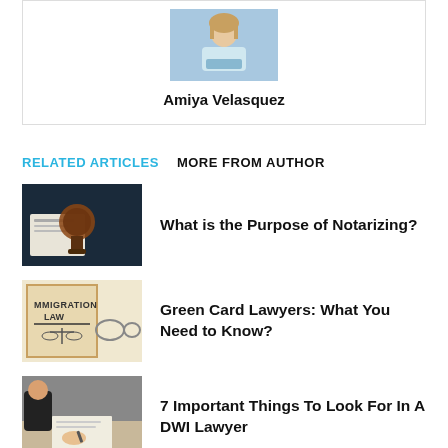[Figure (photo): Author photo of Amiya Velasquez - woman at laptop]
Amiya Velasquez
RELATED ARTICLES   MORE FROM AUTHOR
[Figure (photo): Notary stamp on documents]
What is the Purpose of Notarizing?
[Figure (photo): Immigration Law book with glasses]
Green Card Lawyers: What You Need to Know?
[Figure (photo): People signing documents at table]
7 Important Things To Look For In A DWI Lawyer